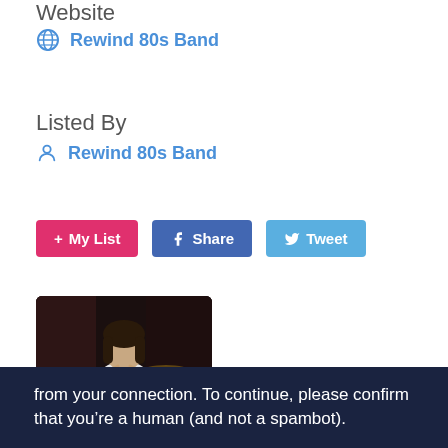Website
🌐 Rewind 80s Band
Listed By
👤 Rewind 80s Band
[Figure (other): Three buttons: '+ My List' (pink/magenta), 'f Share' (Facebook blue), 'Tweet' (Twitter blue)]
[Figure (photo): A person with dark hair playing drums or an instrument in a dark setting, wearing a white shirt]
from your connection. To continue, please confirm that youâ€™re a human (and not a spambot).